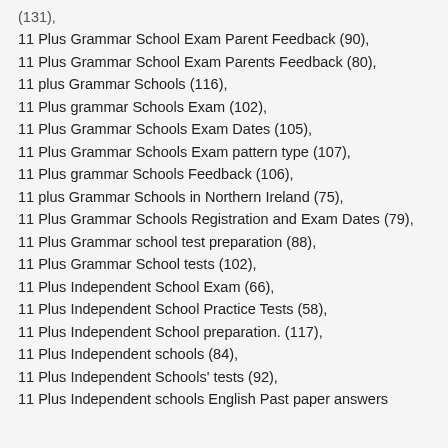(131),
11 Plus Grammar School Exam Parent Feedback (90),
11 Plus Grammar School Exam Parents Feedback (80),
11 plus Grammar Schools (116),
11 Plus grammar Schools Exam (102),
11 Plus Grammar Schools Exam Dates (105),
11 Plus Grammar Schools Exam pattern type (107),
11 Plus grammar Schools Feedback (106),
11 plus Grammar Schools in Northern Ireland (75),
11 Plus Grammar Schools Registration and Exam Dates (79),
11 Plus Grammar school test preparation (88),
11 Plus Grammar School tests (102),
11 Plus Independent School Exam (66),
11 Plus Independent School Practice Tests (58),
11 Plus Independent School preparation. (117),
11 Plus Independent schools (84),
11 Plus Independent Schools' tests (92),
11 Plus Independent schools English Past paper answers (100),